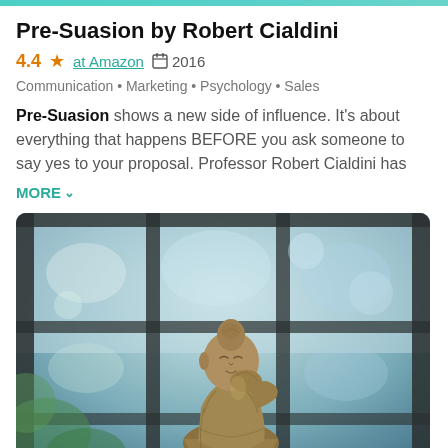Pre-Suasion by Robert Cialdini
4.4 ★ at Amazon  📅 2016
Communication • Marketing • Psychology • Sales
Pre-Suasion shows a new side of influence. It's about everything that happens BEFORE you ask someone to say yes to your proposal. Professor Robert Cialdini has
MORE ∨
[Figure (photo): A bronze Buddha statue in a contemplative pose, resting its head on one hand, set against a blurred window background with green foliage visible outside.]